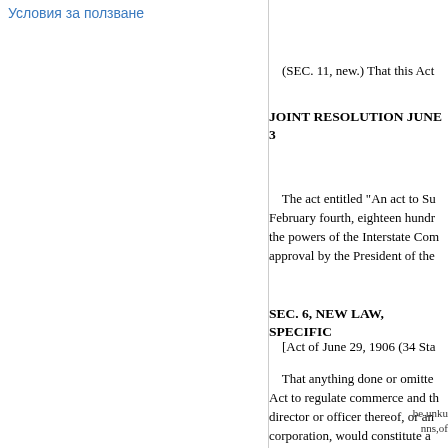Условия за ползване
(SEC. 11, new.) That this Act
JOINT RESOLUTION JUNE 3
The act entitled "An act to Su... February fourth, eighteen hundr... the powers of the Interstate Com... approval by the President of the...
SEC. 6, NEW LAW, SPECIFIC
[Act of June 29, 1906 (34 Sta...
That anything done or omitte... Act to regulate commerce and th... director or officer thereof, or an... corporation, would constitute a... misdemeanor committed by suc... penalties as are prescribed in sai... penalties are herein changed. Th...
be unk... nns,of...